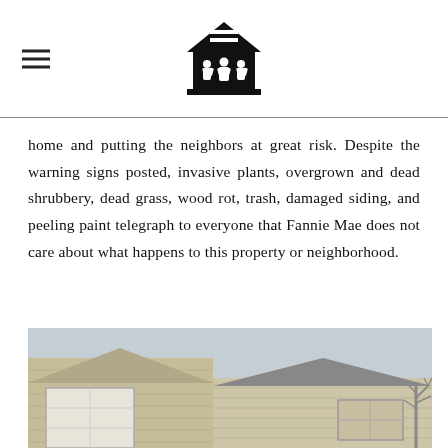[Logo: National Fair Housing Alliance / families under a roof icon]
home and putting the neighbors at great risk. Despite the warning signs posted, invasive plants, overgrown and dead shrubbery, dead grass, wood rot, trash, damaged siding, and peeling paint telegraph to everyone that Fannie Mae does not care about what happens to this property or neighborhood.
[Figure (photo): Exterior photo of a single-story residential home with wood/vinyl siding in a tan/beige color, a white garage door on the left side, and a sloped roof. Overcast sky in the background. A bare tree is visible on the right side of the frame.]